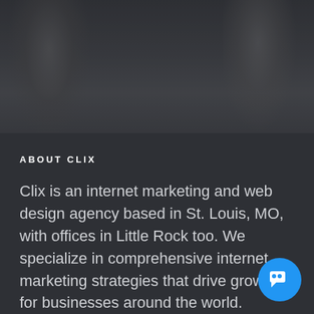[Figure (photo): Dark, blurry black and white photo of people with hands raised, serving as a background hero image]
ABOUT CLIX
Clix is an internet marketing and web design agency based in St. Louis, MO, with offices in Little Rock too. We specialize in comprehensive internet marketing strategies that drive growth for businesses around the world.